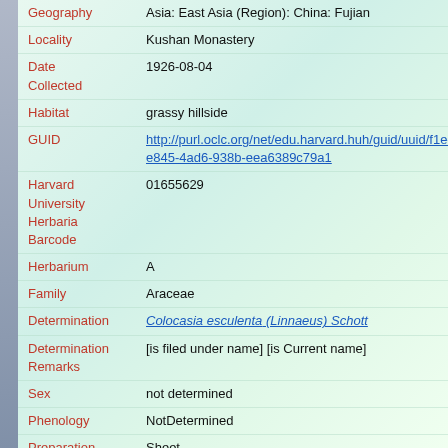| Field | Value |
| --- | --- |
| Geography | Asia: East Asia (Region): China: Fujian |
| Locality | Kushan Monastery |
| Date Collected | 1926-08-04 |
| Habitat | grassy hillside |
| GUID | http://purl.oclc.org/net/edu.harvard.huh/guid/uuid/f1e-e845-4ad6-938b-eea6389c79a1 |
| Harvard University Herbaria Barcode | 01655629 |
| Herbarium | A |
| Family | Araceae |
| Determination | Colocasia esculenta (Linnaeus) Schott |
| Determination Remarks | [is filed under name] [is Current name] |
| Sex | not determined |
| Phenology | NotDetermined |
| Preparation Type | Sheet |
| Preparation Method | Pressed |